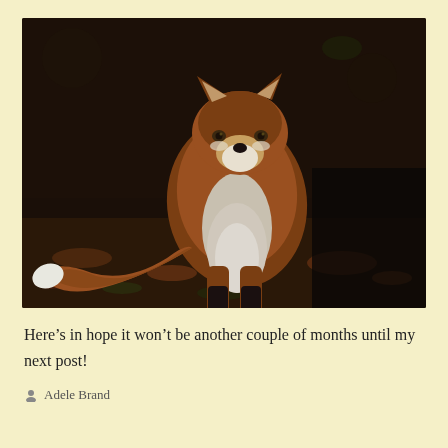[Figure (photo): A red fox standing and facing the camera in a dark woodland setting with autumn leaves on the ground. The fox has a reddish-brown coat, white chest/muzzle fur, black legs, and a bushy tail with a white tip.]
Here’s in hope it won’t be another couple of months until my next post!
Adele Brand